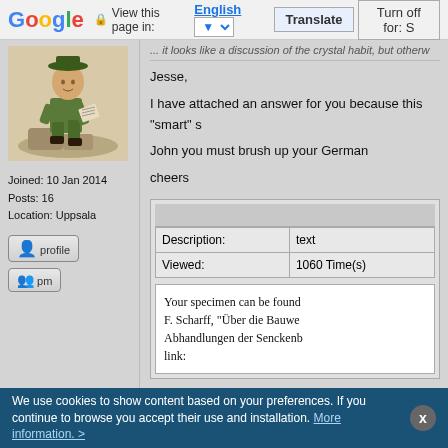Google  View this page in: English [▼]  Translate  Turn off for: S
... it looks like a discussion of the crystal habit, but otherw
[Figure (illustration): Illustrated avatar of a person sitting on rocks, reading or working, wearing historical clothing]
Joined: 10 Jan 2014
Posts: 16
Location: Uppsala
profile
pm
Jesse,

I have attached an answer for you because this "smart" s

John you must brush up your German

cheers
| Description: | text |
| --- | --- |
| Viewed: | 1060 Time(s) |
Your specimen can be found F. Scharff, "Über die Bauwe Abhandlungen der Senckenb link:
We use cookies to show content based on your preferences. If you continue to browse you accept their use and installation.  More information. >